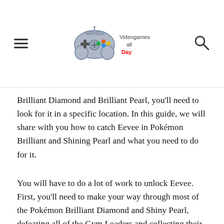Videogames all Day — logo header with hamburger menu and search icon
Brilliant Diamond and Brilliant Pearl, you'll need to look for it in a specific location. In this guide, we will share with you how to catch Eevee in Pokémon Brilliant and Shining Pearl and what you need to do for it.
You will have to do a lot of work to unlock Eevee. First, you'll need to make your way through most of the Pokémon Brilliant Diamond and Shiny Pearl, defeating all of the Gym Leaders and collecting their medals. Once you've done that, you'll need to defeat the Elite Four and beat them to become the champion. Along the way, you'll also need to catch all the Pokémon in the Sinnoh region, unlocking the National Pokédex.